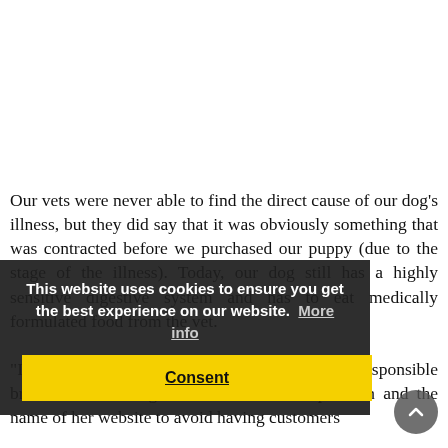Our vets were never able to find the direct cause of our dog's illness, but they did say that it was obviously something that was contracted before we purchased our puppy (due to the stage of the illness). Today, our dog still has a highly sensitive digestive system and has to eat medically formulated food from the vet.
"It is my strong opinion that this is not a responsible breeder." She changes the name of her operation and the name of her website to avoid having customers